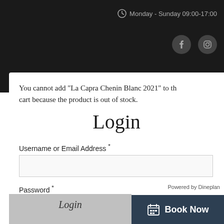Monday - Sunday 09:00-17:00
[Figure (screenshot): Social media icons: Facebook and Instagram on dark background]
You cannot add "La Capra Chenin Blanc 2021" to the cart because the product is out of stock.
Login
Username or Email Address *
Password *
Remember me
Powered by Dineplan
Book Now
Login